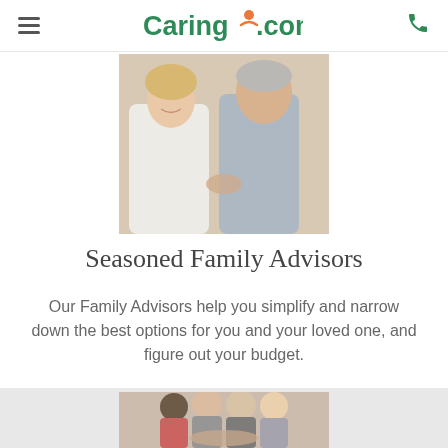Caring.com
[Figure (photo): A smiling female caregiver in white coat holding hands with an elderly man with grey hair, photographed from the side in a warm indoor setting.]
Seasoned Family Advisors
Our Family Advisors help you simplify and narrow down the best options for you and your loved one, and figure out your budget.
[Figure (photo): A group of elderly people smiling and putting their hands together in a team huddle gesture, viewed from below looking up.]